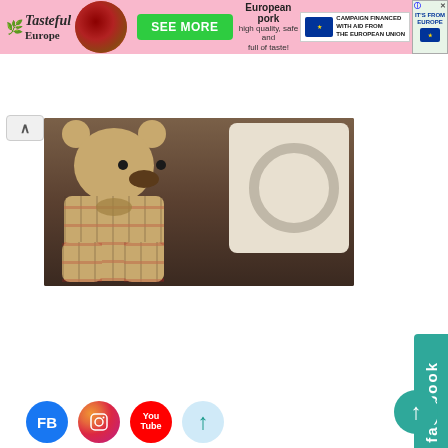[Figure (photo): Banner advertisement for Tasteful Europe featuring logo, food bowl image, SEE MORE button, and European Union campaign logos]
[Figure (photo): Photo of a Burberry plaid teddy bear sitting in front of a white appliance/machine, on a dark wooden surface]
Ted Baker 熊熊
[Figure (photo): Photo collage showing woman in white outfit with striped hat, EVA LIFE DESIGN brand card, and woman posing outdoors in white outfit with striped hat]
[Figure (infographic): Facebook tab on right side, social media share icons (FB, Instagram, YouTube, arrow up) at bottom, and scroll-to-top button]